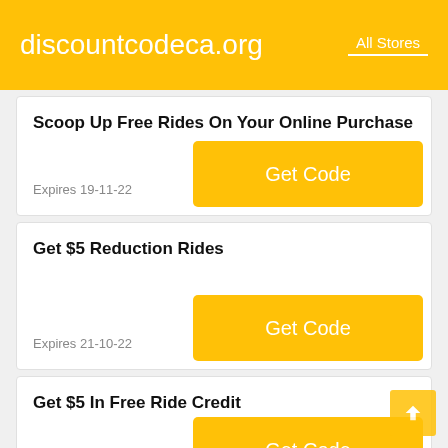discountcodeca.org — All Stores
Scoop Up Free Rides On Your Online Purchase
Expires 19-11-22
Get Code
Get $5 Reduction Rides
Expires 21-10-22
Get Code
Get $5 In Free Ride Credit
Expires 20-10-22
Get Code